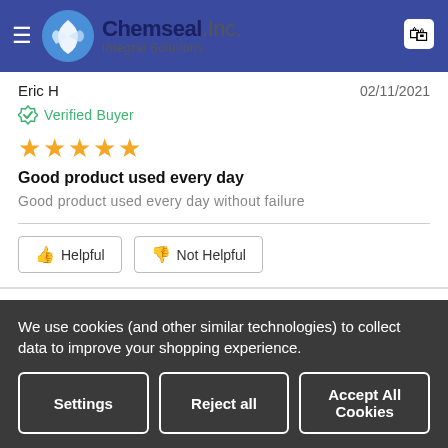Chemseal Inc. Integral Solutions
Eric H   02/11/2021
Verified Buyer
★★★★★
Good product used every day
Good product used every day without failure
Helpful   Not Helpful
Alberto G   05/27/2020
Verified Buyer
We use cookies (and other similar technologies) to collect data to improve your shopping experience.
Settings   Reject all   Accept All Cookies